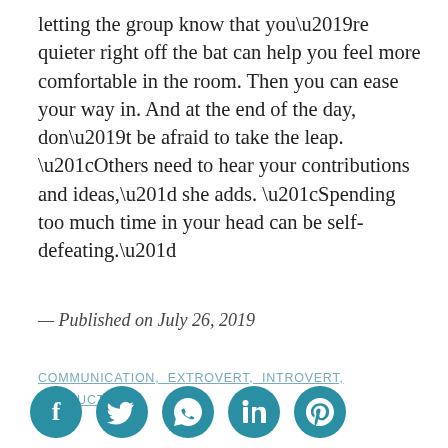letting the group know that you’re quieter right off the bat can help you feel more comfortable in the room. Then you can ease your way in. And at the end of the day, don’t be afraid to take the leap. “Others need to hear your contributions and ideas,” she adds. “Spending too much time in your head can be self-defeating.”
— Published on July 26, 2019
COMMUNICATION, EXTROVERT, INTROVERT, PRODUCTIVITY
[Figure (infographic): Five teal circular social media icons: Facebook (f), Twitter (bird), WhatsApp (phone), LinkedIn (in), Pinterest (P)]